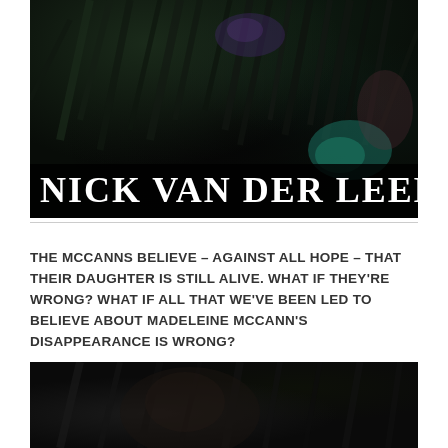[Figure (photo): Dark feather background with iridescent teal and purple highlights, author name 'NICK VAN DER LEEK' overlaid in white serif font at the bottom]
THE MCCANNS BELIEVE – AGAINST ALL HOPE – THAT THEIR DAUGHTER IS STILL ALIVE. WHAT IF THEY'RE WRONG? WHAT IF ALL THAT WE'VE BEEN LED TO BELIEVE ABOUT MADELEINE MCCANN'S DISAPPEARANCE IS WRONG?
[Figure (photo): Dark feather/textured background, bottom portion cropped]